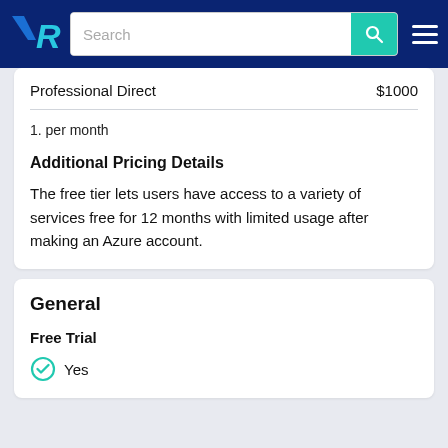TrustRadius - Search
| Plan | Price |
| --- | --- |
| Professional Direct | $1000 |
1. per month
Additional Pricing Details
The free tier lets users have access to a variety of services free for 12 months with limited usage after making an Azure account.
General
Free Trial
Yes